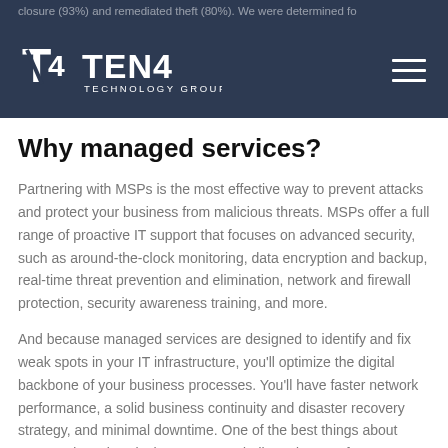TEN4 TECHNOLOGY GROUP
Why managed services?
Partnering with MSPs is the most effective way to prevent attacks and protect your business from malicious threats. MSPs offer a full range of proactive IT support that focuses on advanced security, such as around-the-clock monitoring, data encryption and backup, real-time threat prevention and elimination, network and firewall protection, security awareness training, and more.
And because managed services are designed to identify and fix weak spots in your IT infrastructure, you'll optimize the digital backbone of your business processes. You'll have faster network performance, a solid business continuity and disaster recovery strategy, and minimal downtime. One of the best things about managed services is that you get a dedicated team of IT